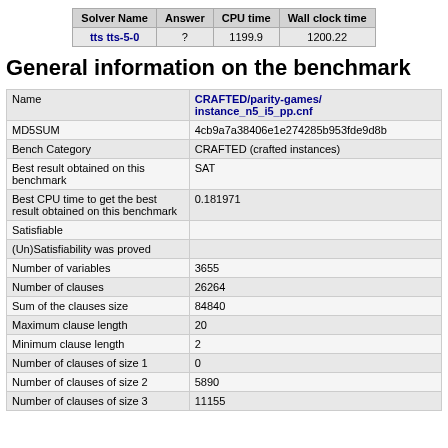| Solver Name | Answer | CPU time | Wall clock time |
| --- | --- | --- | --- |
| tts tts-5-0 | ? | 1199.9 | 1200.22 |
General information on the benchmark
|  |  |
| --- | --- |
| Name | CRAFTED/parity-games/instance_n5_i5_pp.cnf |
| MD5SUM | 4cb9a7a38406e1e274285b953fde9d8b |
| Bench Category | CRAFTED (crafted instances) |
| Best result obtained on this benchmark | SAT |
| Best CPU time to get the best result obtained on this benchmark | 0.181971 |
| Satisfiable |  |
| (Un)Satisfiability was proved |  |
| Number of variables | 3655 |
| Number of clauses | 26264 |
| Sum of the clauses size | 84840 |
| Maximum clause length | 20 |
| Minimum clause length | 2 |
| Number of clauses of size 1 | 0 |
| Number of clauses of size 2 | 5890 |
| Number of clauses of size 3 | 11155 |